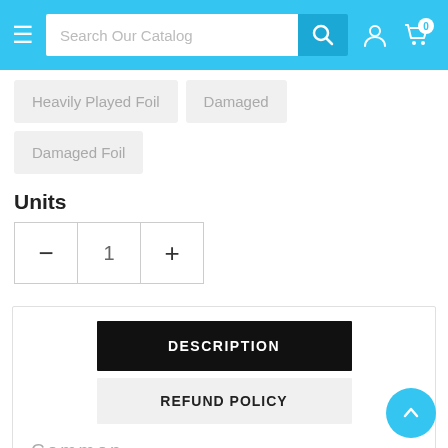Search Our Catalog
Heavily Played Foil
Damaged
Damaged Foil
Units
- 1 +
DESCRIPTION
REFUND POLICY
Common
|  |  |
| --- | --- |
| Set: | Rise of the Eldrazi |
| Type: | Basic Land — Mountain |